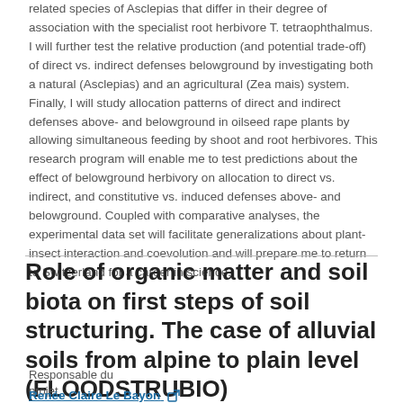related species of Asclepias that differ in their degree of association with the specialist root herbivore T. tetraophthalmus. I will further test the relative production (and potential trade-off) of direct vs. indirect defenses belowground by investigating both a natural (Asclepias) and an agricultural (Zea mais) system. Finally, I will study allocation patterns of direct and indirect defenses above- and belowground in oilseed rape plants by allowing simultaneous feeding by shoot and root herbivores. This research program will enable me to test predictions about the effect of belowground herbivory on allocation to direct vs. indirect, and constitutive vs. induced defenses above- and belowground. Coupled with comparative analyses, the experimental data set will facilitate generalizations about plant-insect interaction and coevolution and will prepare me to return to Switzerland for a career in science.
Role of organic matter and soil biota on first steps of soil structuring. The case of alluvial soils from alpine to plain level (FLOODSTRUBIO)
Responsable du projet
Renée Claire Le Bayon